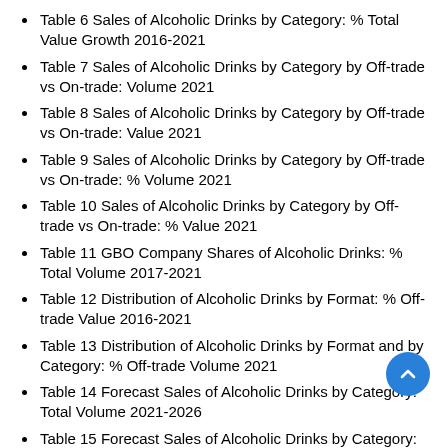Table 6 Sales of Alcoholic Drinks by Category: % Total Value Growth 2016-2021
Table 7 Sales of Alcoholic Drinks by Category by Off-trade vs On-trade: Volume 2021
Table 8 Sales of Alcoholic Drinks by Category by Off-trade vs On-trade: Value 2021
Table 9 Sales of Alcoholic Drinks by Category by Off-trade vs On-trade: % Volume 2021
Table 10 Sales of Alcoholic Drinks by Category by Off-trade vs On-trade: % Value 2021
Table 11 GBO Company Shares of Alcoholic Drinks: % Total Volume 2017-2021
Table 12 Distribution of Alcoholic Drinks by Format: % Off-trade Value 2016-2021
Table 13 Distribution of Alcoholic Drinks by Format and by Category: % Off-trade Volume 2021
Table 14 Forecast Sales of Alcoholic Drinks by Category: Total Volume 2021-2026
Table 15 Forecast Sales of Alcoholic Drinks by Category: Total Value 2021-2026